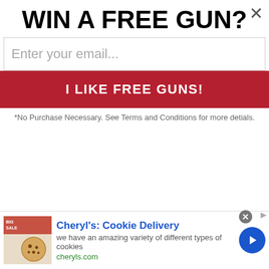WIN A FREE GUN?
Enter your email...
I LIKE FREE GUNS!
*No Purchase Necessary. See Terms and Conditions for more detials.
teaches hatred and death to non-believers. That would be Islam.
Glock Man
New member
Nov 8, 2008	#4
festus said:
[Figure (photo): Cookie delivery advertisement with image of cookies on left and text on right with blue circle arrow button]
Cheryl's: Cookie Delivery
we have an amazing variety of different types of cookies
cheryls.com